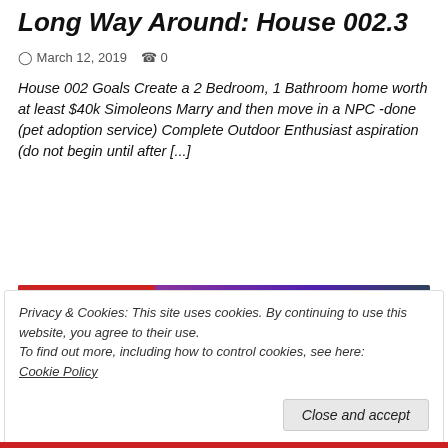Long Way Around: House 002.3
March 12, 2019  0
House 002 Goals Create a 2 Bedroom, 1 Bathroom home worth at least $40k Simoleons Marry and then move in a NPC -done (pet adoption service) Complete Outdoor Enthusiast aspiration (do not begin until after [...]
[Figure (photo): Screenshot from a game (The Sims) showing a character in a fantasy outdoor setting with pink/purple plants. Red banner label reads 'LONG WAY AROUND' in top-left corner.]
Privacy & Cookies: This site uses cookies. By continuing to use this website, you agree to their use.
To find out more, including how to control cookies, see here:
Cookie Policy
Close and accept